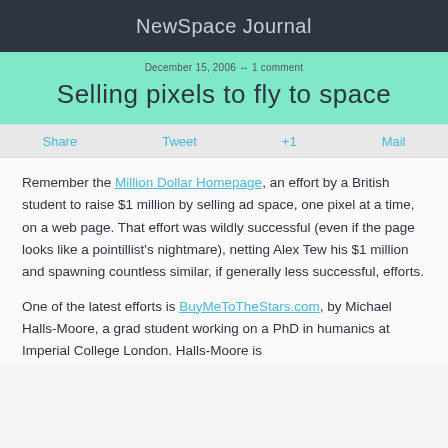NewSpace Journal
December 15, 2006 ↔ 1 comment
Selling pixels to fly to space
Share   Tweet   +1   Mail
Remember the Million Dollar Homepage, an effort by a British student to raise $1 million by selling ad space, one pixel at a time, on a web page. That effort was wildly successful (even if the page looks like a pointillist's nightmare), netting Alex Tew his $1 million and spawning countless similar, if generally less successful, efforts.
One of the latest efforts is BuyMeToTheStars.com, by Michael Halls-Moore, a grad student working on a PhD in humanics at Imperial College London. Halls-Moore is